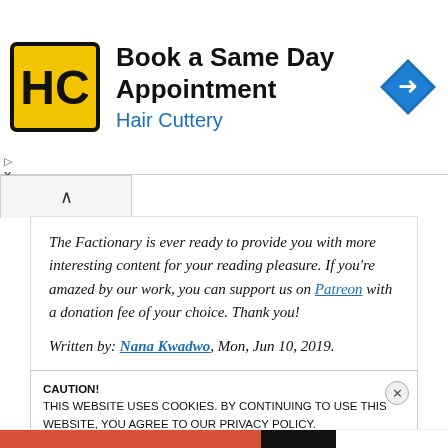[Figure (screenshot): Hair Cuttery advertisement banner with HC logo, 'Book a Same Day Appointment' title, 'Hair Cuttery' subtitle in blue, and a navigation/direction diamond icon on the right.]
The Factionary is ever ready to provide you with more interesting content for your reading pleasure. If you're amazed by our work, you can support us on Patreon with a donation fee of your choice. Thank you!
Written by: Nana Kwadwo, Mon, Jun 10, 2019.
CAUTION!
THIS WEBSITE USES COOKIES. BY CONTINUING TO USE THIS WEBSITE, YOU AGREE TO OUR PRIVACY POLICY.